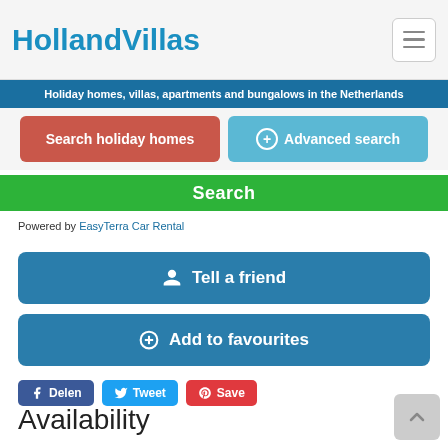[Figure (logo): Holland Villas logo in blue text]
Holiday homes, villas, apartments and bungalows in the Netherlands
Search holiday homes
+ Advanced search
Search
Powered by EasyTerra Car Rental
Tell a friend
Add to favourites
Delen
Tweet
Save
Availability